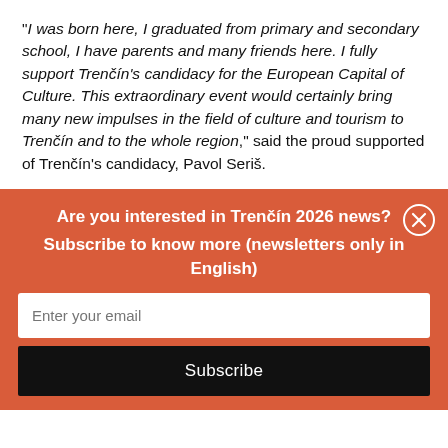"I was born here, I graduated from primary and secondary school, I have parents and many friends here. I fully support Trenčín's candidacy for the European Capital of Culture. This extraordinary event would certainly bring many new impulses in the field of culture and tourism to Trenčín and to the whole region," said the proud supported of Trenčín's candidacy, Pavol Seriš.
Are you interested in Trenčín 2026 news? Subscribe to know more (newsletters only in English)